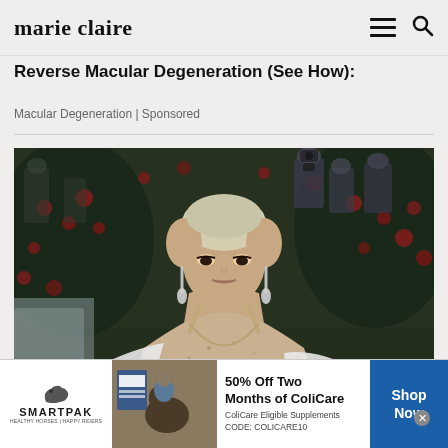marie claire
Reverse Macular Degeneration (See How):
Macular Degeneration | Sponsored
[Figure (photo): Woman with short platinum blonde hair wearing a beige embellished gown at what appears to be a red carpet event. Photographers visible in the background.]
[Figure (photo): SmartPak advertisement banner showing a horse and rider with text: 50% Off Two Months of ColiCare, ColiCare Eligible Supplements, CODE: COLICARE10. Shop Now button.]